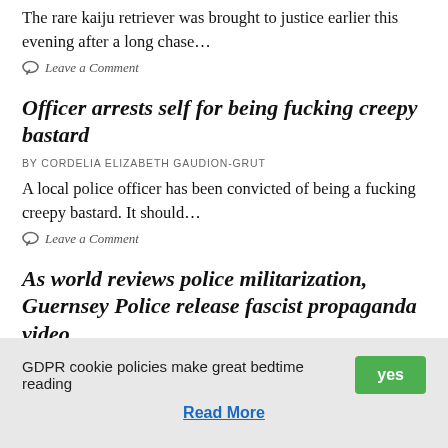The rare kaiju retriever was brought to justice earlier this evening after a long chase…
Leave a Comment
Officer arrests self for being fucking creepy bastard
BY CORDELIA ELIZABETH GAUDION-GRUT
A local police officer has been convicted of being a fucking creepy bastard. It should…
Leave a Comment
As world reviews police militarization, Guernsey Police release fascist propaganda video
BY QUINCY DE SAUSMAREZ
As nations across the planet review police brutality,
GDPR cookie policies make great bedtime reading
yes
Read More